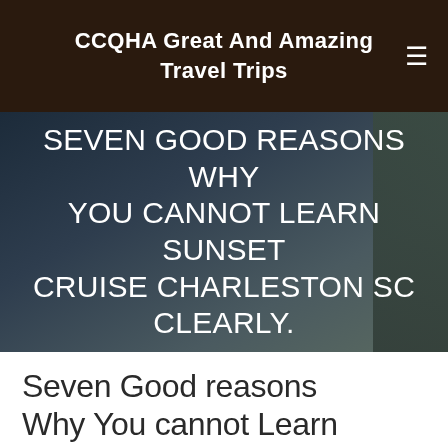CCQHA Great And Amazing Travel Trips
SEVEN GOOD REASONS WHY YOU CANNOT LEARN SUNSET CRUISE CHARLESTON SC CLEARLY.
Seven Good reasons Why You cannot Learn Sunset Cruise